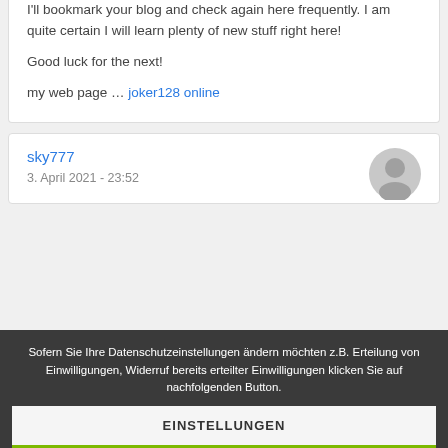I'll bookmark your blog and check again here frequently. I am quite certain I will learn plenty of new stuff right here!

Good luck for the next!

my web page … joker128 online
sky777
3. April 2021 - 23:52
Sofern Sie Ihre Datenschutzeinstellungen ändern möchten z.B. Erteilung von Einwilligungen, Widerruf bereits erteilter Einwilligungen klicken Sie auf nachfolgenden Button.
EINSTELLUNGEN